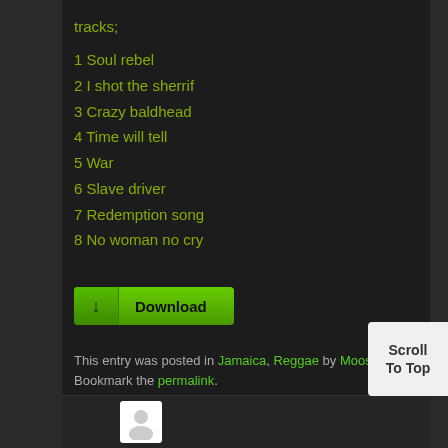tracks;
1 Soul rebel
2 I shot the sherrif
3 Crazy baldhead
4 Time will tell
5 War
6 Slave driver
7 Redemption song
8 No woman no cry
[Figure (other): Green Download button with arrow icon]
This entry was posted in Jamaica, Reggae by Moos. Bookmark the permalink.
6 THOUGHTS ON "BUNNY WAILER – TRIBUTE SOLOMONIC PRODUCTIONS 1981"
[Figure (other): Scroll To Top button in bottom right corner]